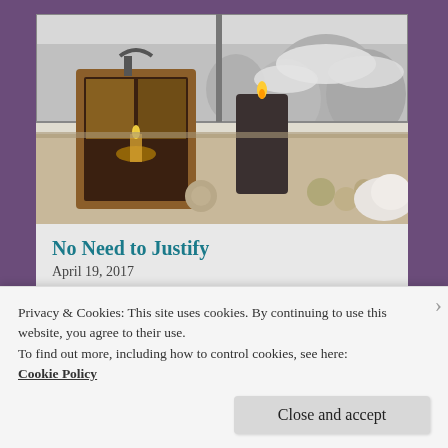[Figure (photo): Winter windowsill scene in black and white with a warm wooden lantern holding a lit candle, a dark cylindrical candle, small decorative orbs, and a soft white cloth. Snowy trees visible through the window in the background.]
No Need to Justify
April 19, 2017
In "Alex Speak"
Privacy & Cookies: This site uses cookies. By continuing to use this website, you agree to their use.
To find out more, including how to control cookies, see here:
Cookie Policy